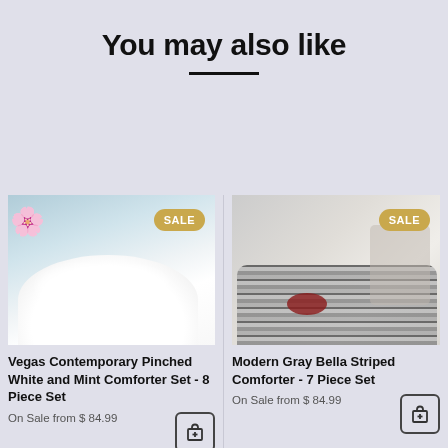You may also like
[Figure (photo): White comforter bedding set product photo with SALE badge]
Vegas Contemporary Pinched White and Mint Comforter Set - 8 Piece Set
On Sale from $ 84.99
[Figure (photo): Modern gray striped comforter set product photo with SALE badge]
Modern Gray Bella Striped Comforter - 7 Piece Set
On Sale from $ 84.99